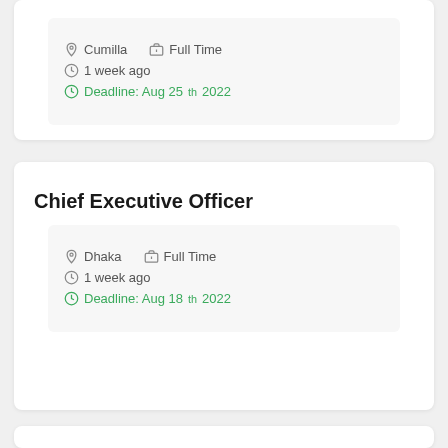Cumilla  Full Time
1 week ago
Deadline: Aug 25th 2022
Chief Executive Officer
Dhaka  Full Time
1 week ago
Deadline: Aug 18th 2022